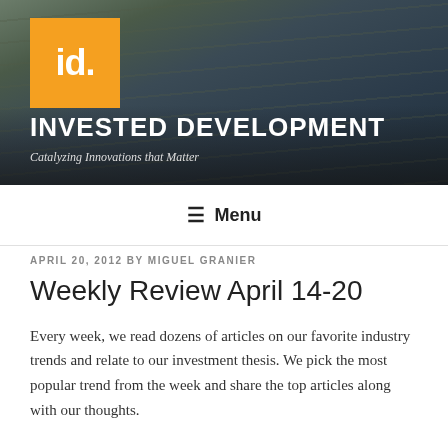[Figure (photo): Header image of a train on railway tracks with overhead power lines, dark moody atmosphere. Orange square logo with 'id.' text overlaid in top left.]
INVESTED DEVELOPMENT
Catalyzing Innovations that Matter
≡ Menu
APRIL 20, 2012 BY MIGUEL GRANIER
Weekly Review April 14-20
Every week, we read dozens of articles on our favorite industry trends and relate to our investment thesis. We pick the most popular trend from the week and share the top articles along with our thoughts.